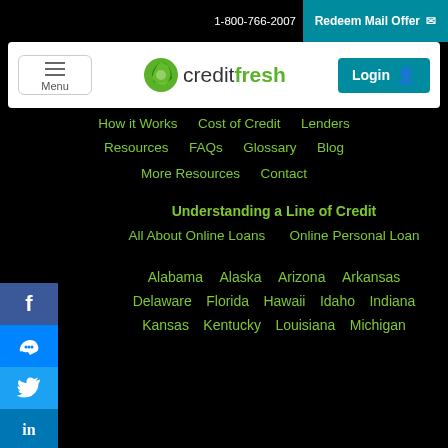1-800-766-2007  Redeem Mail Offer
[Figure (logo): CreditFresh logo with lime-green leaf icon and text 'creditfresh']
Menu  Login
How it Works  Cost of Credit  Lenders
Resources  FAQs  Glossary  Blog
More Resources  Contact
Understanding a Line of Credit
All About Online Loans  Online Personal Loan
Alabama  Alaska  Arizona  Arkansas
Delaware  Florida  Hawaii  Idaho  Indiana
Kansas  Kentucky  Louisiana  Michigan